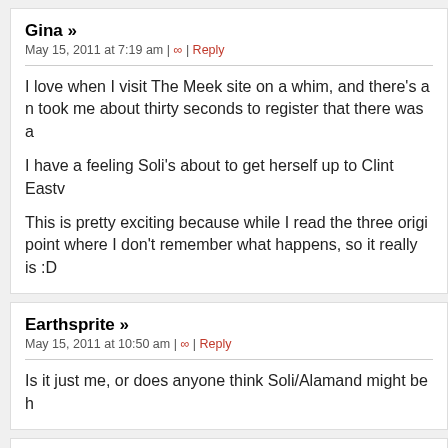Gina »
May 15, 2011 at 7:19 am | ∞ | Reply
I love when I visit The Meek site on a whim, and there's a n... took me about thirty seconds to register that there was a...
I have a feeling Soli's about to get herself up to Clint Eastv...
This is pretty exciting because while I read the three origi... point where I don't remember what happens, so it really is... :D
Earthsprite »
May 15, 2011 at 10:50 am | ∞ | Reply
Is it just me, or does anyone think Soli/Alamand might be h...
Tim Kietzman
May 15, 2011 at 6:31 pm | ∞ | Reply
I wondered who that guy is... When's the next one...? You s...